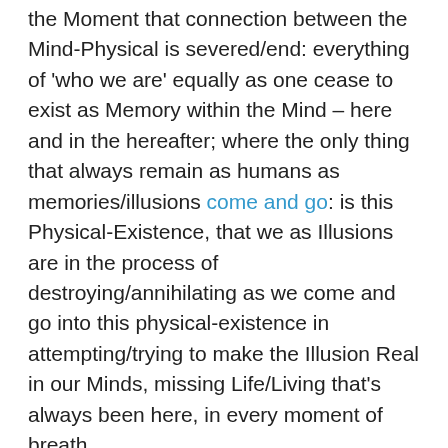the Moment that connection between the Mind-Physical is severed/end: everything of 'who we are' equally as one cease to exist as Memory within the Mind – here and in the hereafter; where the only thing that always remain as humans as memories/illusions come and go: is this Physical-Existence, that we as Illusions are in the process of destroying/annihilating as we come and go into this physical-existence in attempting/trying to make the Illusion Real in our Minds, missing Life/Living that's always been here, in every moment of breath…
I forgive myself that I haven't accepted and allowed myself to, from the beginning to now, in equality and oneness with life, energy and substance, the mind and the physical – seen, realised and understood – why and how in and on this Earth/Physical-Existence – with SO MANY HUMAN BEINGS: that, if we were to stand-up/stand-together and really within ourselves align our relationship to ourselves/all within working together to create/manifest this World into an existence that will assist/support all equally as one; we'd change our lives and the generations to come. But instead, the more Humans come into this world/on this Earth – within